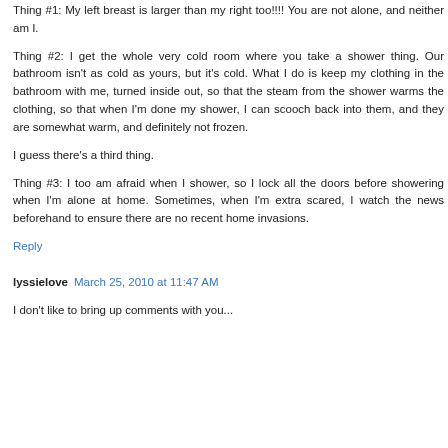Thing #1: My left breast is larger than my right too!!!! You are not alone, and neither am I.
Thing #2: I get the whole very cold room where you take a shower thing. Our bathroom isn't as cold as yours, but it's cold. What I do is keep my clothing in the bathroom with me, turned inside out, so that the steam from the shower warms the clothing, so that when I'm done my shower, I can scooch back into them, and they are somewhat warm, and definitely not frozen.
I guess there's a third thing.
Thing #3: I too am afraid when I shower, so I lock all the doors before showering when I'm alone at home. Sometimes, when I'm extra scared, I watch the news beforehand to ensure there are no recent home invasions.
Reply
lyssielove March 25, 2010 at 11:47 AM
I don't like to bring up comments with...